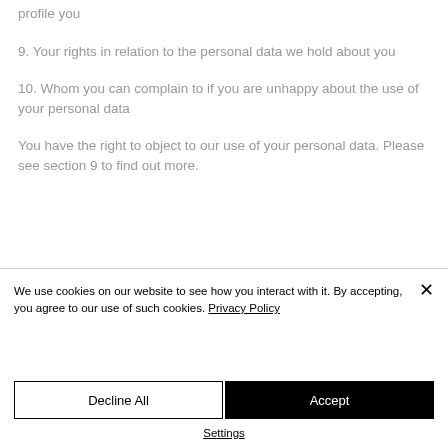profile you
9. Your rights in relation to the personal data we hold about you
10. Whom you can complain to if you are unhappy about the use of your personal data
You have the right to object to our use of your personal data. Please see section 9 to find out more.
We use cookies on our website to see how you interact with it. By accepting, you agree to our use of such cookies. Privacy Policy
Decline All
Accept
Settings